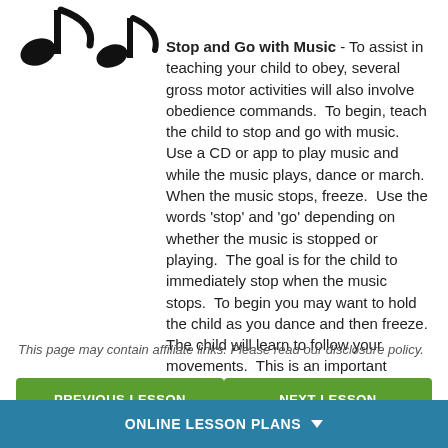[Figure (illustration): Two black musical notes (eighth notes) in the top-left corner of the page]
Stop and Go with Music - To assist in teaching your child to obey, several gross motor activities will also involve obedience commands. To begin, teach the child to stop and go with music. Use a CD or app to play music and while the music plays, dance or march. When the music stops, freeze. Use the words 'stop' and 'go' depending on whether the music is stopped or playing. The goal is for the child to immediately stop when the music stops. To begin you may want to hold the child as you dance and then freeze. The child will learn to follow your movements. This is an important training activity as training the child to stop is a safety concept. Sign 'stop' as you say the word.
This page may contain affiliate links. Please read our disclosure policy.
PREVIOUS LESSON
NEXT LESSON
ONLINE LESSON PLANS